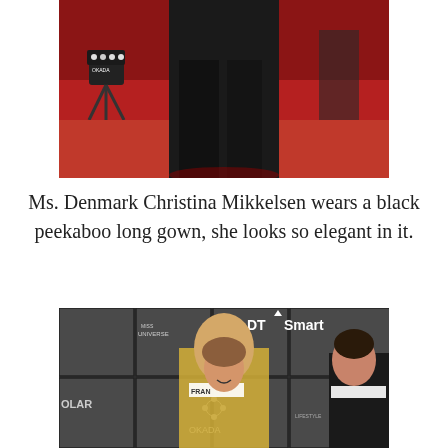[Figure (photo): Close-up photo of legs in a black peekaboo long gown on a red carpet, with an Okada-branded light stand visible on the left side]
Ms. Denmark Christina Mikkelsen wears a black peekaboo long gown, she looks so elegant in it.
[Figure (photo): Photo of Miss Universe contestants including Miss France and another contestant in evening gowns, posing in front of a step-and-repeat banner featuring PLDT Smart, Miss Universe, Okada, LCS Group, and Solar logos]